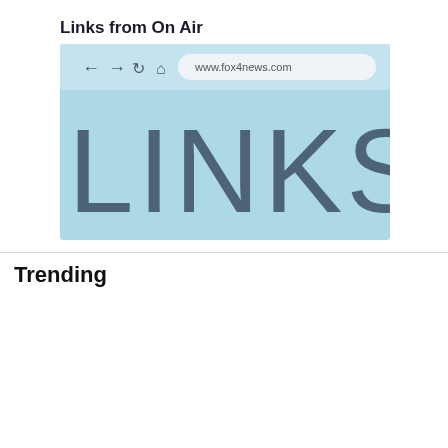Links from On Air
[Figure (screenshot): Browser screenshot showing www.fox4news.com in the address bar with large text LINKS on a light blue background]
Trending
1 Man killed in Fort Worth while delivering furniture
2 Man dies after falling from Fort Worth bridge after being involved in crash